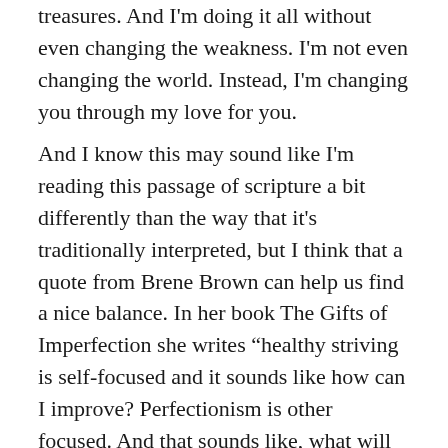treasures. And I'm doing it all without even changing the weakness. I'm not even changing the world. Instead, I'm changing you through my love for you.
And I know this may sound like I'm reading this passage of scripture a bit differently than the way that it's traditionally interpreted, but I think that a quote from Brene Brown can help us find a nice balance. In her book The Gifts of Imperfection she writes “healthy striving is self-focused and it sounds like how can I improve? Perfectionism is other focused. And that sounds like, what will they think?” So of course, as we strive to focus on ourself in connection with God, we can absolutely improve the areas in our life that could positively bless and benefit us.